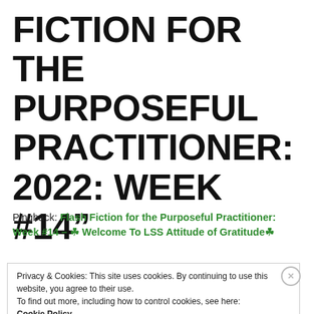FICTION FOR THE PURPOSEFUL PRACTITIONER: 2022: WEEK #14”
Pingback: Flash Fiction for the Purposeful Practitioner: Week #14 – ☘ Welcome To LSS Attitude of Gratitude☘
Privacy & Cookies: This site uses cookies. By continuing to use this website, you agree to their use.
To find out more, including how to control cookies, see here:
Cookie Policy
Close and accept